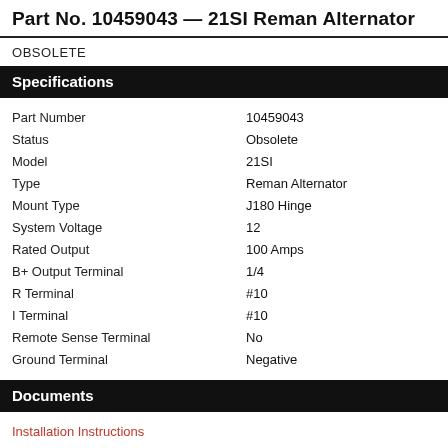Part No. 10459043 — 21SI Reman Alternator
OBSOLETE
Specifications
| Property | Value |
| --- | --- |
| Part Number | 10459043 |
| Status | Obsolete |
| Model | 21SI |
| Type | Reman Alternator |
| Mount Type | J180 Hinge |
| System Voltage | 12 |
| Rated Output | 100 Amps |
| B+ Output Terminal | 1/4 |
| R Terminal | #10 |
| I Terminal | #10 |
| Remote Sense Terminal | No |
| Ground Terminal | Negative |
Documents
Installation Instructions
Replacement Options